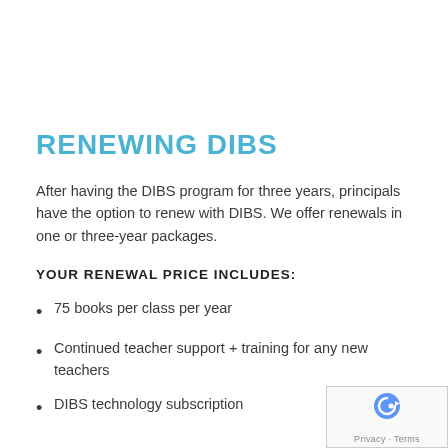RENEWING DIBS
After having the DIBS program for three years, principals have the option to renew with DIBS. We offer renewals in one or three-year packages.
YOUR RENEWAL PRICE INCLUDES:
75 books per class per year
Continued teacher support + training for any new teachers
DIBS technology subscription